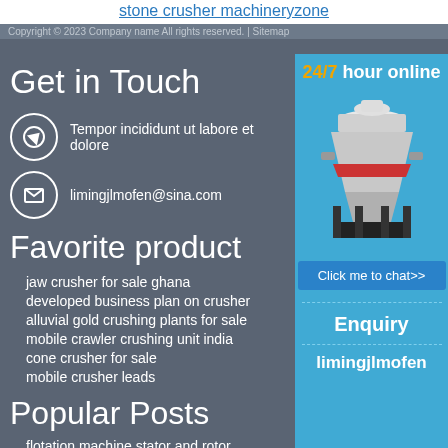stone crusher machineryzone
Copyright © 2023 Company name All rights reserved. | Sitemap
Get in Touch
Tempor incididunt ut labore et dolore
limingjlmofen@sina.com
Favorite product
jaw crusher for sale ghana
developed business plan on crusher
alluvial gold crushing plants for sale
mobile crawler crushing unit india
cone crusher for sale
mobile crusher leads
Popular Posts
flotation machine stator and rotor
[Figure (photo): Sidebar advertisement with cone crusher machine image. Header says '24/7 hour online', button says 'Click me to chat>>', followed by 'Enquiry' and 'limingjlmofen' sections on blue background.]